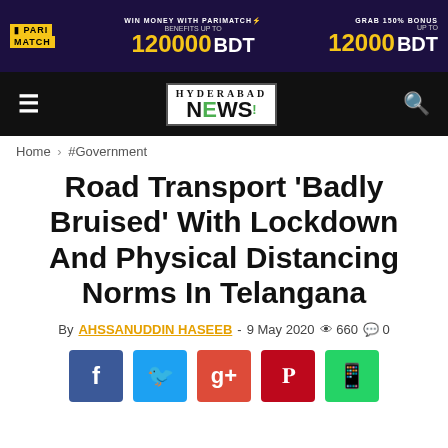[Figure (infographic): Parimatch advertisement banner: Win Money With Parimatch, Benefits up to 120000 BDT, Grab 150% Bonus up to 12000 BDT]
[Figure (logo): Hyderabad News logo in navbar]
Home › #Government
Road Transport 'Badly Bruised' With Lockdown And Physical Distancing Norms In Telangana
By AHSSANUDDIN HASEEB - 9 May 2020  660  0
[Figure (infographic): Social sharing buttons: Facebook, Twitter, Google+, Pinterest, WhatsApp]